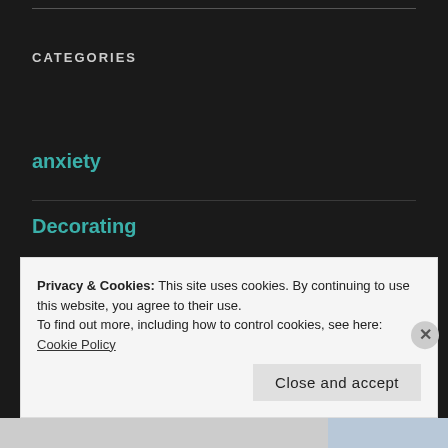CATEGORIES
anxiety
Decorating
Decoratingh
depression
Privacy & Cookies: This site uses cookies. By continuing to use this website, you agree to their use.
To find out more, including how to control cookies, see here: Cookie Policy
Close and accept